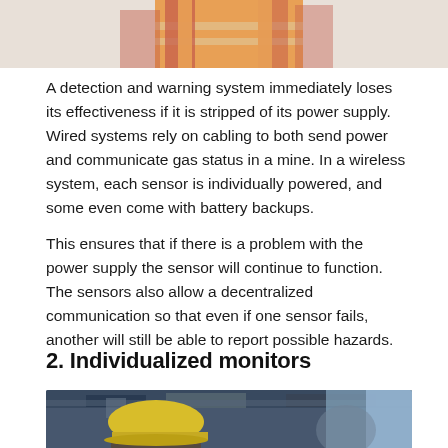[Figure (photo): Worker in orange high-visibility vest and hard hat, upper body visible, cropped at top of page]
A detection and warning system immediately loses its effectiveness if it is stripped of its power supply. Wired systems rely on cabling to both send power and communicate gas status in a mine. In a wireless system, each sensor is individually powered, and some even come with battery backups.
This ensures that if there is a problem with the power supply the sensor will continue to function. The sensors also allow a decentralized communication so that even if one sensor fails, another will still be able to report possible hazards.
2. Individualized monitors
[Figure (photo): Worker wearing a yellow hard hat viewed from behind/side in an industrial facility, partial view at bottom of page]